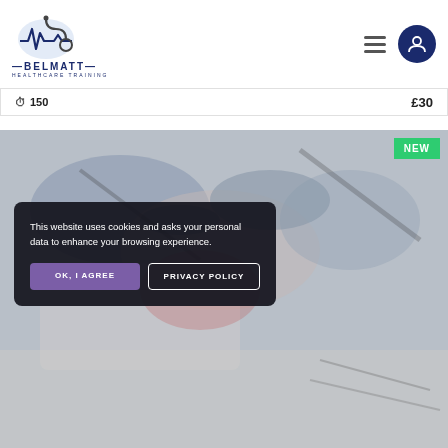[Figure (logo): Belmatt Healthcare Training logo with stethoscope and heartbeat line icon, dark blue text]
150  £30
[Figure (photo): Blurred photo of medical/healthcare items including what appears to be glasses, stethoscope and paperwork with a 'NEW' badge in top right corner]
This website uses cookies and asks your personal data to enhance your browsing experience.
OK, I AGREE
PRIVACY POLICY